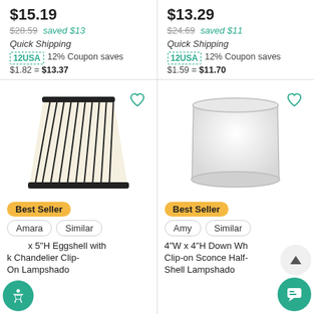$15.19
$28.59 saved $13
Quick Shipping
12USA 12% Coupon saves $1.82 = $13.37
$13.29
$24.69 saved $11
Quick Shipping
12USA 12% Coupon saves $1.59 = $11.70
[Figure (photo): Eggshell lamp shade with black vertical stripes and black trim, chandelier clip-on style]
[Figure (photo): White drum-style clip-on sconce half-shell lampshade]
Best Seller
Amara | Similar
x 5"H Eggshell with k Chandelier Clip-On Lampshado
Best Seller
Amy | Similar
4"W x 4"H Down Wh Clip-on Sconce Half- Shell Lampshado